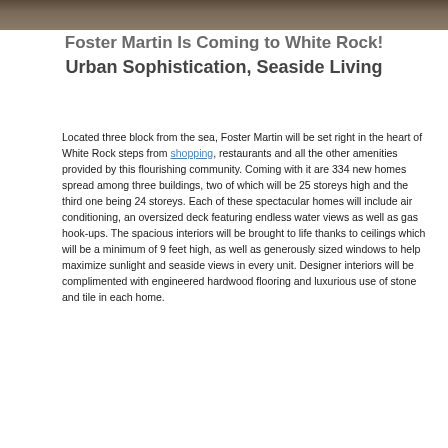[Figure (photo): Photograph banner at top of page showing a coastal or residential scene]
Foster Martin Is Coming to White Rock!
Urban Sophistication, Seaside Living
Located three block from the sea, Foster Martin will be set right in the heart of White Rock steps from shopping, restaurants and all the other amenities provided by this flourishing community. Coming with it are 334 new homes spread among three buildings, two of which will be 25 storeys high and the third one being 24 storeys. Each of these spectacular homes will include air conditioning, an oversized deck featuring endless water views as well as gas hook-ups. The spacious interiors will be brought to life thanks to ceilings which will be a minimum of 9 feet high, as well as generously sized windows to help maximize sunlight and seaside views in every unit. Designer interiors will be complimented with engineered hardwood flooring and luxurious use of stone and tile in each home.